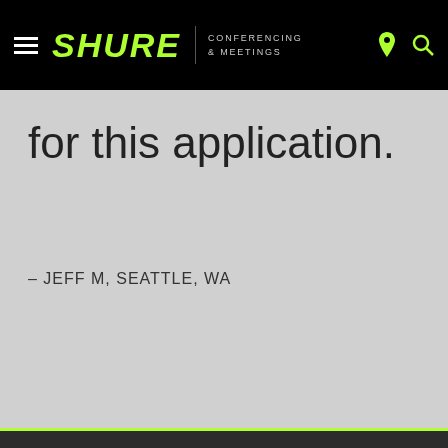SHURE CONFERENCING & MEETINGS
for this application.
– JEFF M, SEATTLE, WA
We use necessary cookies to make our site work. We'd like to set additional cookies and share your data with third parties such as Facebook Inc. or Google LLC to give you a better browsing experience, analyze
Learn More →
Agree and close